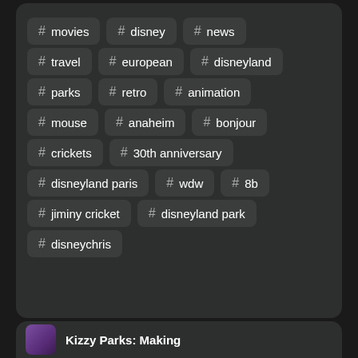# movies
# disney
# news
# travel
# european
# disneyland
# parks
# retro
# animation
# mouse
# anaheim
# bonjour
# crickets
# 30th anniversary
# disneyland paris
# wdw
# 8b
# jiminy cricket
# disneyland park
# disneychris
Kizzy Parks: Making